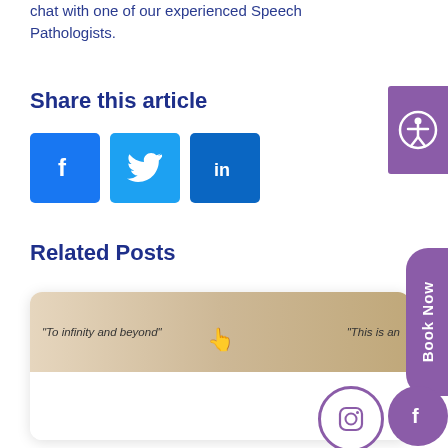chat with one of our experienced Speech Pathologists.
Share this article
[Figure (other): Social media share buttons: Facebook (blue square with f icon), Twitter (light blue square with bird icon), LinkedIn (blue square with in icon)]
Related Posts
[Figure (other): Related post card with a banner image showing 'To infinity and beyond' text on the left side and 'This is an' text on the right, with a hand/finger icon in the middle, beige/tan background]
[Figure (other): Right sidebar UI elements: accessibility icon button (purple rectangle), Book Now button (purple pill shape with vertical text), Facebook circle icon (purple), Instagram circle icon (outlined purple)]